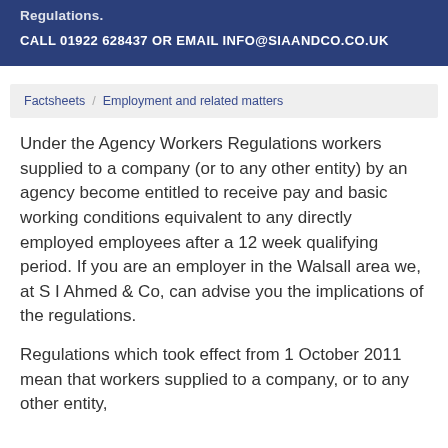Regulations.
CALL 01922 628437 OR EMAIL INFO@SIAANDCO.CO.UK
Factsheets / Employment and related matters
Under the Agency Workers Regulations workers supplied to a company (or to any other entity) by an agency become entitled to receive pay and basic working conditions equivalent to any directly employed employees after a 12 week qualifying period. If you are an employer in the Walsall area we, at S I Ahmed & Co, can advise you the implications of the regulations.
Regulations which took effect from 1 October 2011 mean that workers supplied to a company, or to any other entity,